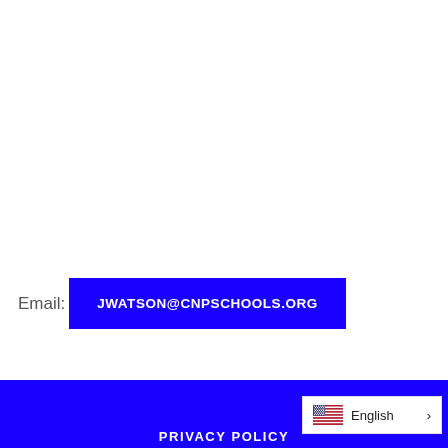Email: JWATSON@CNPSCHOOLS.ORG
PRIVACY POLICY
English